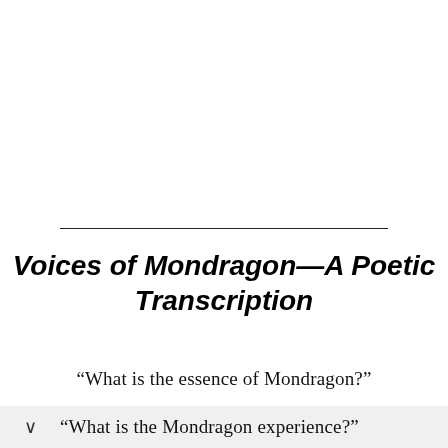Voices of Mondragon—A Poetic Transcription
“What is the essence of Mondragon?”
“What is the Mondragon experience?”